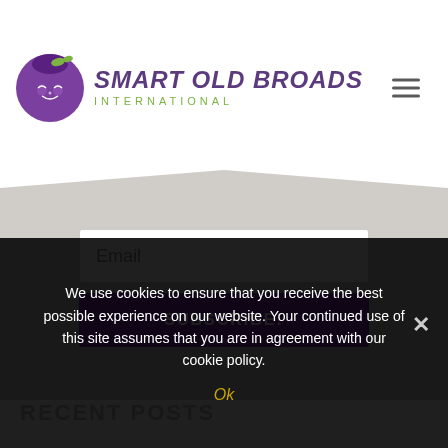[Figure (logo): Smart Old Broads International logo — purple cartoon face with green bow, italic purple text 'SMART OLD BROADS' and green subtitle 'INTERNATIONAL']
[Figure (other): Email subscription form with white input field labeled 'Email' and a purple SUBSCRIBE! button, on a grey envelope-shaped background]
RECENT POSTS
We use cookies to ensure that you receive the best possible experience on our website. Your continued use of this site assumes that you are in agreement with our cookie policy.
Ok